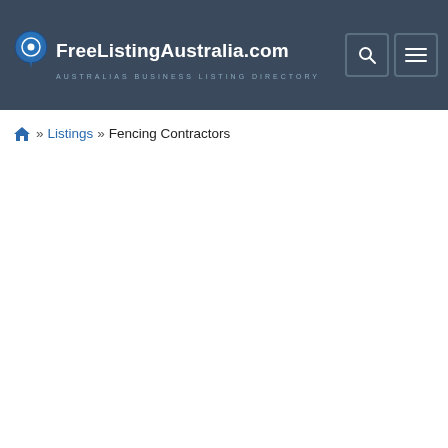FreeListingAustralia.com — AUSTRALIAS BUSINESS LISTING DIRECTORY
🏠 » Listings » Fencing Contractors